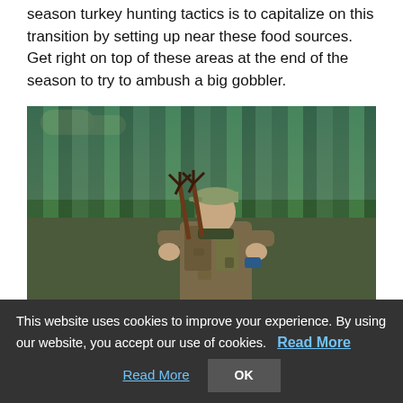season turkey hunting tactics is to capitalize on this transition by setting up near these food sources. Get right on top of these areas at the end of the season to try to ambush a big gobbler.
[Figure (photo): A hunter in camouflage clothing and a cap holding up turkey feet/legs, with trees and blue sky in the background.]
This website uses cookies to improve your experience. By using our website, you accept our use of cookies. Read More OK